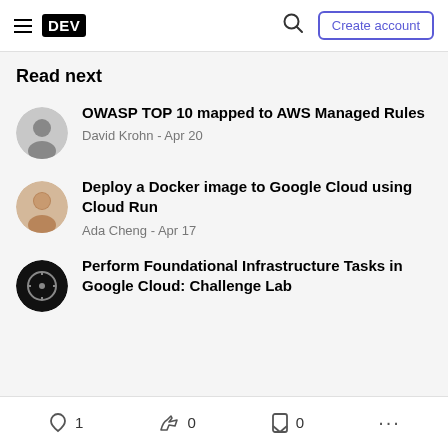DEV | Search | Create account
Read next
OWASP TOP 10 mapped to AWS Managed Rules
David Krohn - Apr 20
Deploy a Docker image to Google Cloud using Cloud Run
Ada Cheng - Apr 17
Perform Foundational Infrastructure Tasks in Google Cloud: Challenge Lab
1  0  0  ...